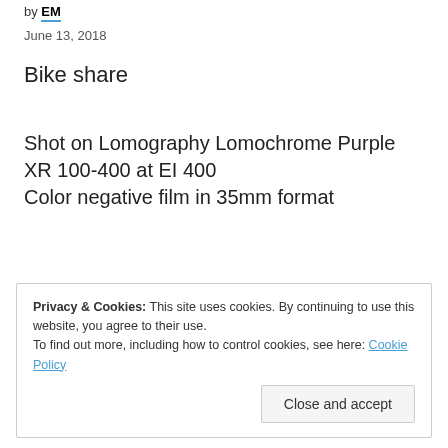by EM
June 13, 2018
Bike share
Shot on Lomography Lomochrome Purple XR 100-400 at EI 400
Color negative film in 35mm format
Privacy & Cookies: This site uses cookies. By continuing to use this website, you agree to their use. To find out more, including how to control cookies, see here: Cookie Policy
Close and accept